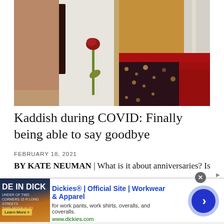[Figure (photo): Vintage photo showing two people from the torso down. Left figure wears a white dress and holds a dark book and a single red rose. Right figure wears a mustard/orange top with a red belt and a dark polka-dot skirt with red fabric.]
Kaddish during COVID: Finally being able to say goodbye
FEBRUARY 18, 2021
BY KATE NEUMAN | What is it about anniversaries? Is
[Figure (screenshot): Advertisement banner for Dickies workwear. Shows 'DE IN DICK' partial text on dark background image, with text 'Dickies® | Official Site | Workwear & Apparel', 'for work pants, work shirts, overalls, and coveralls.', 'www.dickies.com', and a blue arrow button. Has an X close button.]